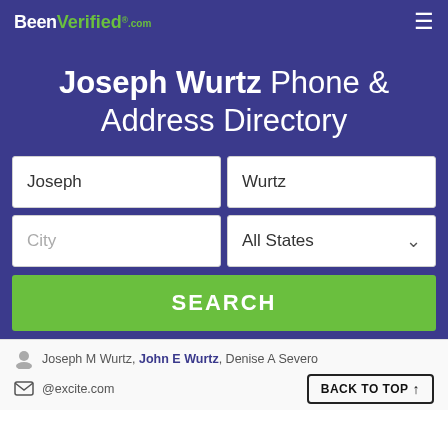BeenVerified.com
Joseph Wurtz Phone & Address Directory
Joseph | Wurtz
City | All States
SEARCH
Joseph M Wurtz, John E Wurtz, Denise A Severo
@excite.com
BACK TO TOP ↑